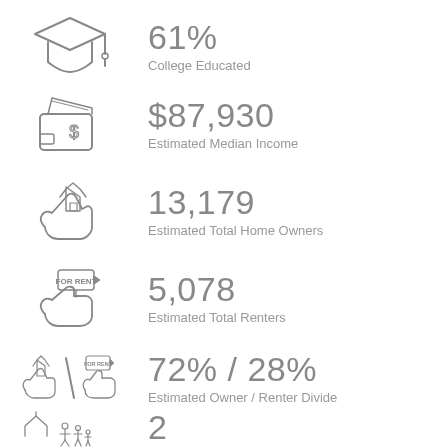[Figure (infographic): Graduation cap icon]
61%
College Educated
[Figure (infographic): Wallet with money icon]
$87,930
Estimated Median Income
[Figure (infographic): Hand holding house icon]
13,179
Estimated Total Home Owners
[Figure (infographic): Hand holding for rent sign icon]
5,078
Estimated Total Renters
[Figure (infographic): House and for rent sign divided icon]
72% / 28%
Estimated Owner / Renter Divide
[Figure (infographic): House with family icon]
2